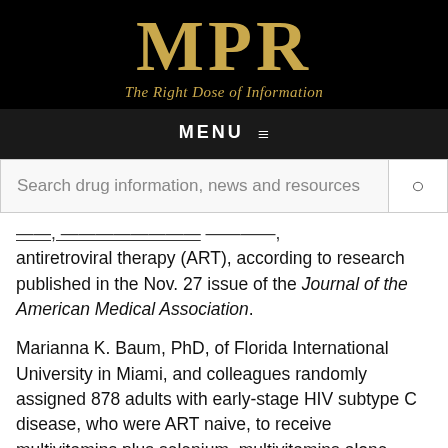[Figure (logo): MPR logo with tagline 'The Right Dose of Information' on black background]
MENU ≡
Search drug information, news and resources
antiretroviral therapy (ART), according to research published in the Nov. 27 issue of the Journal of the American Medical Association.
Marianna K. Baum, PhD, of Florida International University in Miami, and colleagues randomly assigned 878 adults with early-stage HIV subtype C disease, who were ART naive, to receive multivitamins plus selenium, multivitamins alone, selenium alone, or placebo. The authors sought to investigate the effects of long-term micronutrient